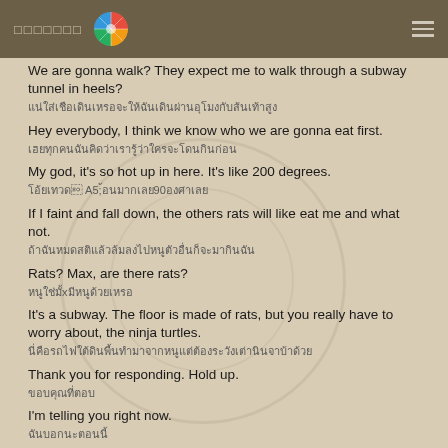▪▪▪▪▪▪▪  [colorwheel icon]  ≡
We are gonna walk? They expect me to walk through a subway tunnel in heels?
▪▪▪▪▪▪▪▪▪▪▪▪▪▪▪▪▪▪▪▪
Hey everybody, I think we know who we are gonna eat first.
▪▪▪▪▪▪▪▪▪▪▪▪▪▪
My god, it's so hot up in here. It's like 200 degrees.
▪▪▪▪▪▪▪▪▪▪90▪▪▪
If I faint and fall down, the others rats will like eat me and what not.
▪▪▪▪▪▪▪▪▪▪▪▪▪▪▪▪▪
Rats? Max, are there rats?
▪▪▪▪▪▪▪▪▪▪▪▪
It's a subway. The floor is made of rats, but you really have to worry about, the ninja turtles.
▪▪▪▪▪▪▪▪▪▪▪▪▪▪▪▪▪▪▪▪▪▪
Thank you for responding. Hold up.
▪▪▪▪▪▪▪▪
I'm telling you right now.
▪▪▪▪▪▪▪
If I lose my babysitting job over this, the rats would be the...